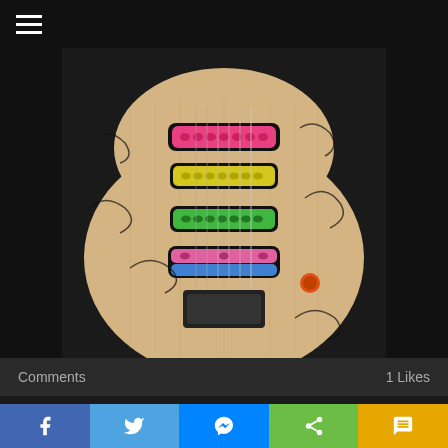☰ (hamburger menu)
[Figure (photo): Close-up photo of a signed electric guitar body with colorful pickups (pink, yellow, green, pink/blue) against a dark background, covered in autographs]
Comments    1 Likes
RON COOLEN Interviewed By LIVETRIGGER!
[Figure (photo): Black and white photo of a drummer (Ron Coolen) playing drums, dynamic action shot]
Facebook | Twitter | Messenger | Share | SMS social sharing buttons